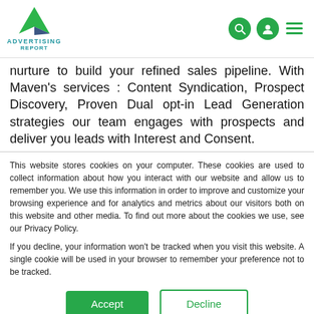[Figure (logo): Advertising Report logo with green and blue triangle/arrow mark above text reading ADVERTISING REPORT]
nurture to build your refined sales pipeline. With Maven's services : Content Syndication, Prospect Discovery, Proven Dual opt-in Lead Generation strategies our team engages with prospects and deliver you leads with Interest and Consent.
This website stores cookies on your computer. These cookies are used to collect information about how you interact with our website and allow us to remember you. We use this information in order to improve and customize your browsing experience and for analytics and metrics about our visitors both on this website and other media. To find out more about the cookies we use, see our Privacy Policy.
If you decline, your information won't be tracked when you visit this website. A single cookie will be used in your browser to remember your preference not to be tracked.
Accept | Decline